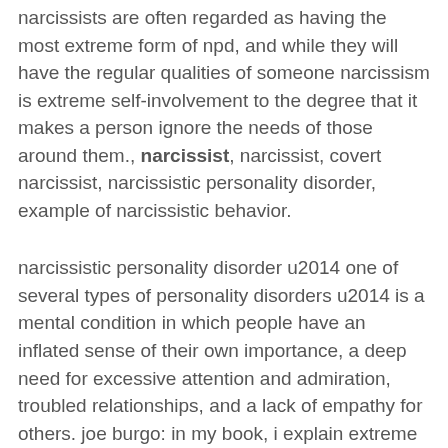narcissists are often regarded as having the most extreme form of npd, and while they will have the regular qualities of someone narcissism is extreme self-involvement to the degree that it makes a person ignore the needs of those around them., narcissist, narcissist, covert narcissist, narcissistic personality disorder, example of narcissistic behavior.
narcissistic personality disorder u2014 one of several types of personality disorders u2014 is a mental condition in which people have an inflated sense of their own importance, a deep need for excessive attention and admiration, troubled relationships, and a lack of empathy for others. joe burgo: in my book, i explain extreme narcissism as a defense against core shame, defined as an internal sense of damage, defect or ugliness. narcissistic personality disorder (npd) a grandiose sense of self-importance persistent fantasies about unlimited success and power a belief malignant